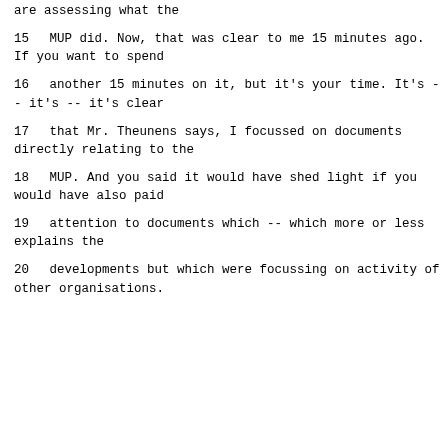are assessing what the
15      MUP did.  Now, that was clear to me 15 minutes ago.  If you want to spend
16      another 15 minutes on it, but it's your time. It's -- it's -- it's clear
17      that Mr. Theunens says, I focussed on documents directly relating to the
18      MUP.  And you said it would have shed light if you would have also paid
19      attention to documents which -- which more or less explains the
20      developments but which were focussing on activity of other organisations.